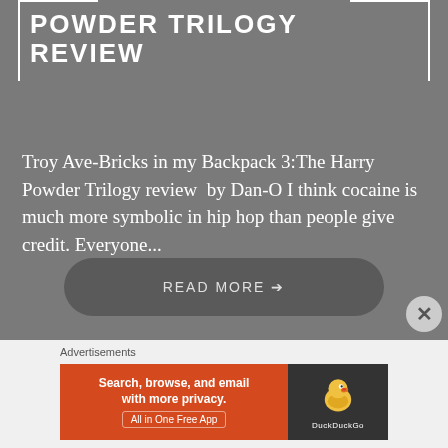POWDER TRILOGY REVIEW
Troy Ave-Bricks in my Backpack 3:The Harry Powder Trilogy review  by Dan-O I think cocaine is much more symbolic in hip hop than people give credit. Everyone...
READ MORE →
Advertisements
[Figure (screenshot): DuckDuckGo advertisement banner: orange left panel saying 'Search, browse, and email with more privacy. All in One Free App', dark right panel with DuckDuckGo duck logo and brand name.]